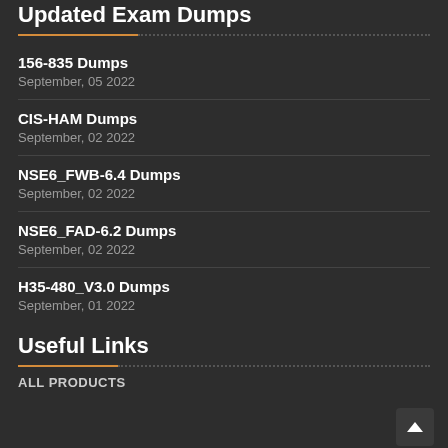Updated Exam Dumps
156-835 Dumps
September, 05 2022
CIS-HAM Dumps
September, 02 2022
NSE6_FWB-6.4 Dumps
September, 02 2022
NSE6_FAD-6.2 Dumps
September, 02 2022
H35-480_V3.0 Dumps
September, 01 2022
Useful Links
ALL PRODUCTS